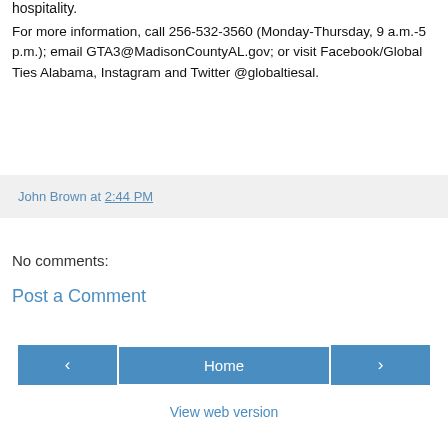hospitality.
For more information, call 256-532-3560 (Monday-Thursday, 9 a.m.-5 p.m.); email GTA3@MadisonCountyAL.gov; or visit Facebook/Global Ties Alabama, Instagram and Twitter @globaltiesal.
John Brown at 2:44 PM
No comments:
Post a Comment
‹
Home
›
View web version